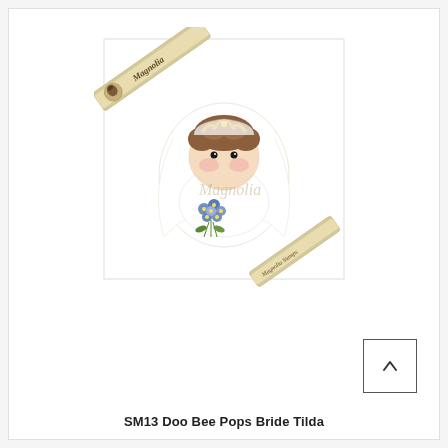[Figure (illustration): Product listing image of Magnolia stamp set SM13 Doo Bee Pops Bride Tilda. Shows a cute illustrated bride character (Tilda) wearing a white wedding dress and veil with a golden tiara, holding a bouquet of small blue flowers. The image is shown in a square white card packaging with the Magnolia brand ribbon/banner across the top-left corner. A 'Magnolia' watermark appears over the image. A second brand ribbon appears in the bottom-right corner of the packaging.]
[Figure (other): Back/up navigation button - a small square button with an upward-pointing chevron arrow (^) symbol, positioned in the bottom-right area of the page.]
SM13 Doo Bee Pops Bride Tilda